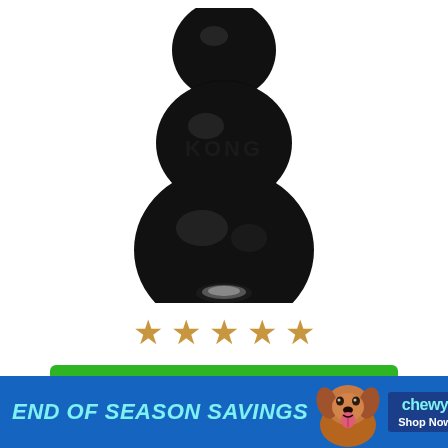[Figure (photo): Black KONG rubber chew toy - a dumbbell/snowman shaped natural rubber toy with 'KONG' embossed on the middle section, hollow at the bottom, shown on white background]
[Figure (other): Five gold/yellow star rating icons in a row]
$14.99 ON CHEWY
END OF SEASON SAVINGS
[Figure (photo): Brown fluffy dog (poodle type) with tongue out on blue banner]
chewy Shop Now